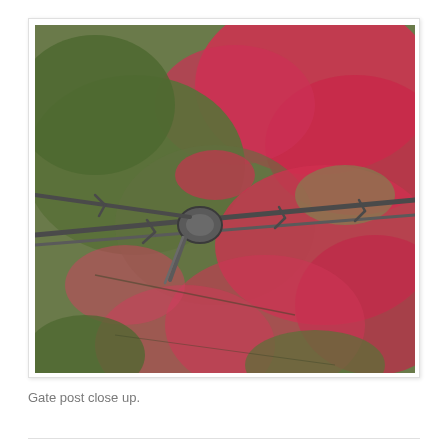[Figure (photo): Close-up photograph of a barbed wire twisted around a gate post. The post surface shows peeling red paint with green moss growing over it. The barbed wire runs diagonally across the upper portion of the image.]
Gate post close up.